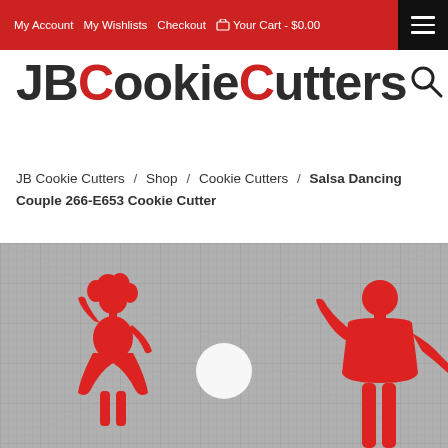My Account  My Wishlists  Checkout  Your Cart - $0.00
JBCookieCutters
JB Cookie Cutters / Shop / Cookie Cutters / Salsa Dancing Couple 266-E653 Cookie Cutter
[Figure (photo): A photo of red plastic salsa dancing couple cookie cutters placed on a gray gridded cutting mat background with a white circular highlight in the center.]